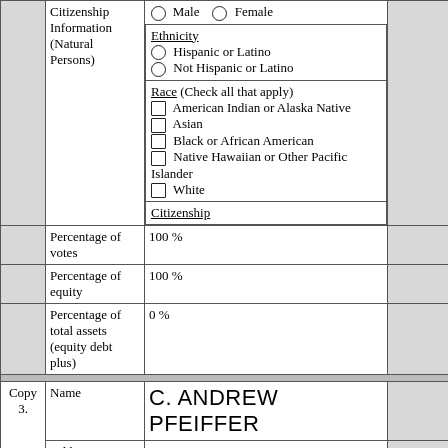|  | Citizenship Information (Natural Persons) | Gender / Ethnicity / Race / Citizenship fields |  |
|  | Percentage of votes | 100 % |  |
|  | Percentage of equity | 100 % |  |
|  | Percentage of total assets (equity debt plus) | 0 % |  |
| Copy 3. | Name | C. ANDREW PFEIFFER |  |
| Copy 3. | Address | Street
842 OAKWOOD AVENUE |  |